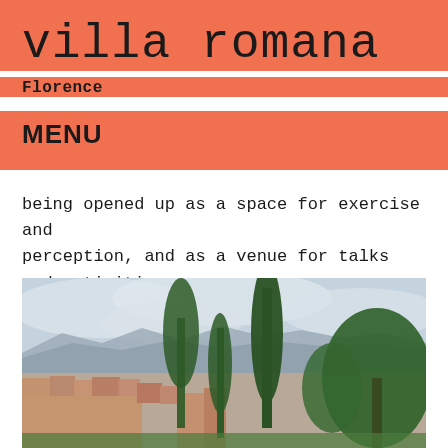villa romana
Florence
MENU
being opened up as a space for exercise and perception, and as a venue for talks and activities.
[Figure (photo): Landscape photograph showing tall Italian cypress trees and other trees in the foreground, with a panoramic view of Florence rooftops and misty mountains in the background under an overcast sky.]